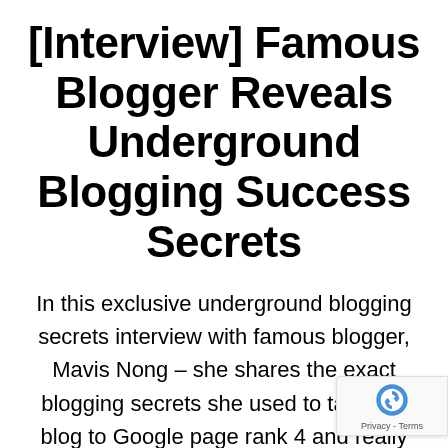[Interview] Famous Blogger Reveals Underground Blogging Success Secrets
In this exclusive underground blogging secrets interview with famous blogger, Mavis Nong – she shares the exact blogging secrets she used to take her blog to Google page rank 4 and really low Alexa rank in only 8 months, as a beginner without any previous blogging online experience. Mavis reveals blog promotion and traffic generation